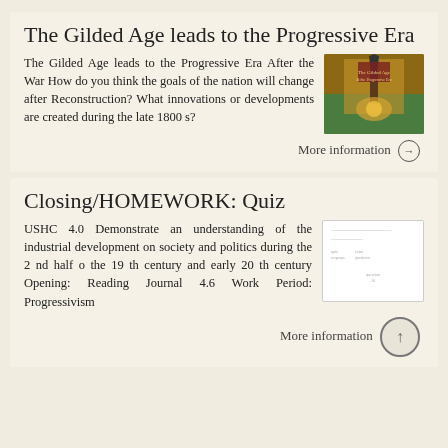The Gilded Age leads to the Progressive Era
The Gilded Age leads to the Progressive Era After the War How do you think the goals of the nation will change after Reconstruction? What innovations or developments are created during the late 1800 s?
[Figure (illustration): Historical illustration for The Gilded Age leads to the Progressive Era]
More information →
Closing/HOMEWORK: Quiz
USHC 4.0 Demonstrate an understanding of the industrial development on society and politics during the 2 nd half o the 19 th century and early 20 th century Opening: Reading Journal 4.6 Work Period: Progressivism
[Figure (screenshot): Quiz document thumbnail]
More information →